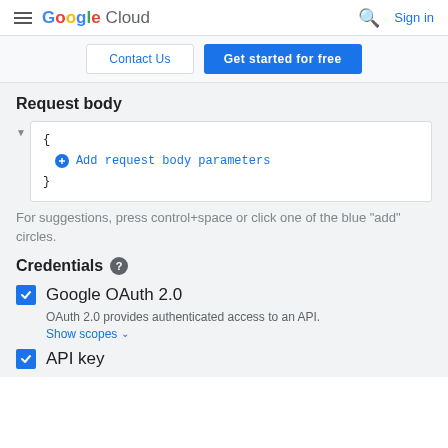Google Cloud  Sign in
Contact Us | Get started for free
Request body
{
  Add request body parameters
}
For suggestions, press control+space or click one of the blue "add" circles.
Credentials
Google OAuth 2.0
OAuth 2.0 provides authenticated access to an API.
Show scopes
API key